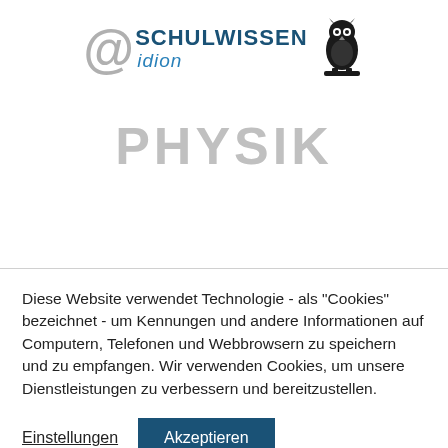[Figure (logo): Schulwissen @ idion logo with owl icon — '@' in gray italic, 'SCHULWISSEN' in dark blue bold uppercase, 'idion' in blue italic, and a black owl silhouette on the right]
PHYSIK
Diese Website verwendet Technologie - als "Cookies" bezeichnet - um Kennungen und andere Informationen auf Computern, Telefonen und Webbrowsern zu speichern und zu empfangen. Wir verwenden Cookies, um unsere Dienstleistungen zu verbessern und bereitzustellen.
Einstellungen   Akzeptieren